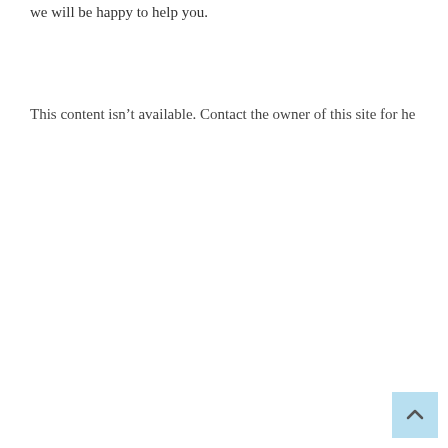we will be happy to help you.
This content isn't available. Contact the owner of this site for he
[Figure (other): Light blue scroll-to-top button with upward-pointing chevron arrow in the bottom-right corner]